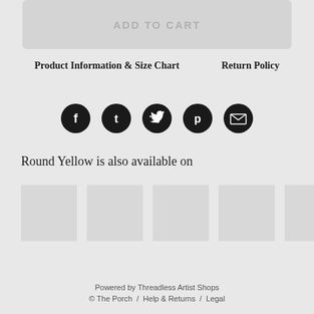ADD TO CART
Product Information & Size Chart    Return Policy
[Figure (other): Social media share icons: Facebook, Tumblr, Twitter, Pinterest, Email — circular dark buttons]
Round Yellow is also available on
[Figure (other): Six product thumbnail placeholder images in a horizontal row]
Powered by Threadless Artist Shops
© The Porch  /  Help & Returns  /  Legal